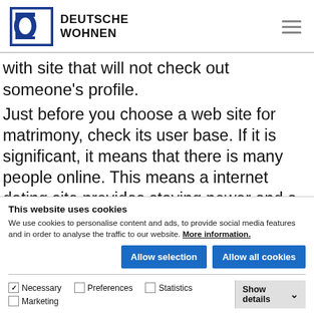Deutsche Wohnen
with site that will not check out someone's profile.
Just before you choose a web site for matrimony, check its user base. If it is significant, it means that there is many people online. This means a internet dating site provides staying power and a large pool of potential matches. In addition, it includes a extremely sophisticated dating algorithm, thus you'll have lots
This website uses cookies
We use cookies to personalise content and ads, to provide social media features and in order to analyse the traffic to our website. More information.
Allow selection   Allow all cookies
Necessary   Preferences   Statistics   Marketing   Show details